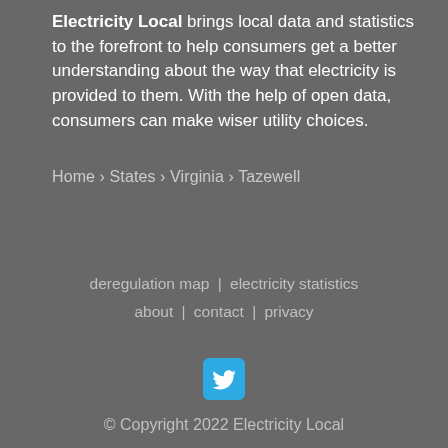Electricity Local brings local data and statistics to the forefront to help consumers get a better understanding about the way that electricity is provided to them. With the help of open data, consumers can make wiser utility choices.
Home › States › Virginia › Tazewell
deregulation map | electricity statistics about | contact | privacy
[Figure (logo): Twitter bird logo icon in cyan/blue square]
© Copyright 2022 Electricity Local